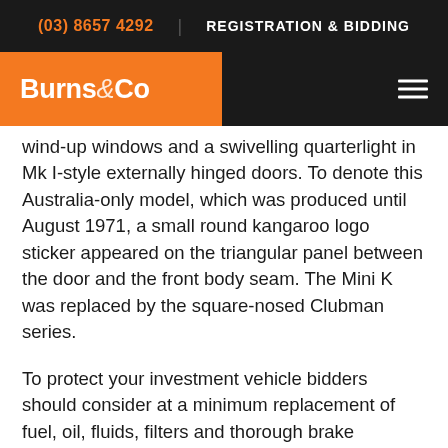(03) 8657 4292   REGISTRATION & BIDDING
[Figure (logo): Burns & Co logo in orange block on dark navigation bar with hamburger menu icon]
wind-up windows and a swivelling quarterlight in Mk I-style externally hinged doors. To denote this Australia-only model, which was produced until August 1971, a small round kangaroo logo sticker appeared on the triangular panel between the door and the front body seam. The Mini K was replaced by the square-nosed Clubman series.
To protect your investment vehicle bidders should consider at a minimum replacement of fuel, oil, fluids, filters and thorough brake inspection as vehicles